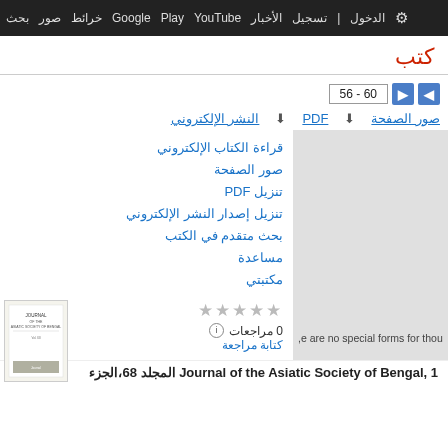بحث صور خرائط Google Play YouTube الأخبار تسجيل الدخول الإعدادات
كتب
56 - 60
صور الصفحة  PDF  النشر الإلكتروني
قراءة الكتاب الإلكتروني
صور الصفحة
تنزيل PDF
تنزيل إصدار النشر الإلكتروني
بحث متقدم في الكتب
مساعدة
مكتبتي
0 مراجعات
كتابة مراجعة
[Figure (illustration): Book cover thumbnail for Journal of the Asiatic Society of Bengal]
e are no special forms for thou,
Journal of the Asiatic Society of Bengal, 1 المجلد 68،الجزء